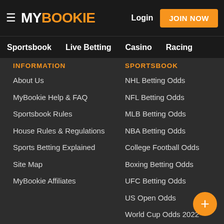MY BOOKIE | Login | JOIN NOW
Sportsbook | Live Betting | Casino | Racing
INFORMATION
About Us
MyBookie Help & FAQ
Sportsbook Rules
House Rules & Regulations
Sports Betting Explained
Site Map
MyBookie Affiliates
SPORTSBOOK
NHL Betting Odds
NFL Betting Odds
MLB Betting Odds
NBA Betting Odds
College Football Odds
Boxing Betting Odds
UFC Betting Odds
US Open Odds
World Cup Odds 2022